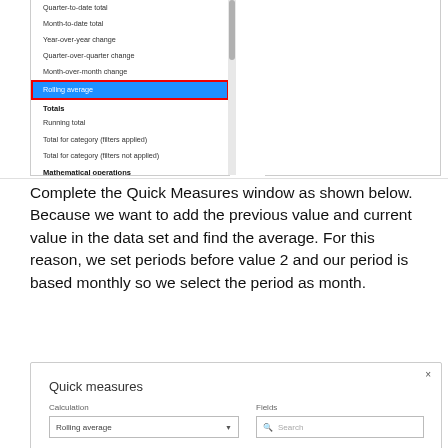[Figure (screenshot): Screenshot of Quick Measures menu showing list items: Quarter-to-date total, Month-to-date total, Year-over-year change, Quarter-over-quarter change, Month-over-month change, Rolling average (highlighted in blue with red border), Totals section header, Running total, Total for category (filters applied), Total for category (filters not applied), Mathematical operations section header. Right panel is empty white. Scrollbar visible on left panel.]
Complete the Quick Measures window as shown below. Because we want to add the previous value and current value in the data set and find the average. For this reason, we set periods before value 2 and our period is based monthly so we select the period as month.
[Figure (screenshot): Quick Measures dialog window showing: Calculation label with Rolling average dropdown, Fields label with Search input box, close (x) button in top right.]